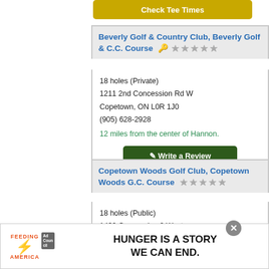Check Tee Times
Beverly Golf & Country Club, Beverly Golf & C.C. Course
18 holes (Private)
1211 2nd Concession Rd W
Copetown, ON L0R 1J0
(905) 628-2928
12 miles from the center of Hannon.
Write a Review
Copetown Woods Golf Club, Copetown Woods G.C. Course
18 holes (Public)
1430 Concession 2 West
Copetown, ON L0R 1J0
[Figure (infographic): Feeding America advertisement banner: 'HUNGER IS A STORY WE CAN END.']